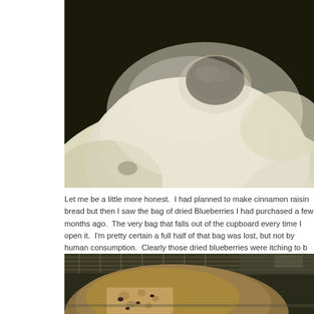[Figure (photo): Close-up macro photograph of bread dough with a dark blueberry embedded in its pale, pillowy surface. The background is dark/blurred.]
Let me be a little more honest.  I had planned to make cinnamon raisin bread but then I saw the bag of dried Blueberries I had purchased a few months ago.  The very bag that falls out of the cupboard every time I open it.  I'm pretty certain a full half of that bag was lost, but not by human consumption.  Clearly those dried blueberries were itching to b
[Figure (photo): Photograph of a sliced loaf of blueberry bread on a cooling rack, showing the interior crumb with blueberries visible. The background shows an oven interior.]